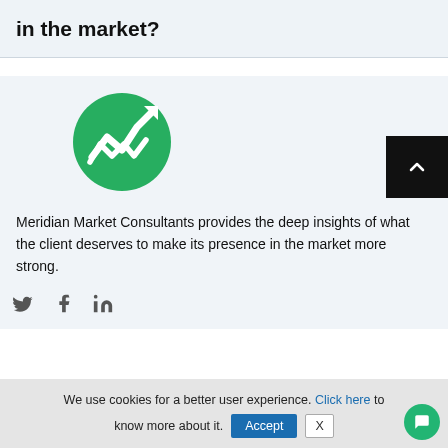in the market?
[Figure (logo): Meridian Market Consultants logo — green circle with white stylized upward-trending chart and letter M]
Meridian Market Consultants provides the deep insights of what the client deserves to make its presence in the market more strong.
[Figure (other): Social media icons: Twitter bird, Facebook f, LinkedIn in]
[Figure (other): Back-to-top button: black square with white chevron up arrow]
We use cookies for a better user experience. Click here to know more about it.
[Figure (other): Accept button (blue) and X button (white/grey border) for cookie consent, plus green chat bubble icon]